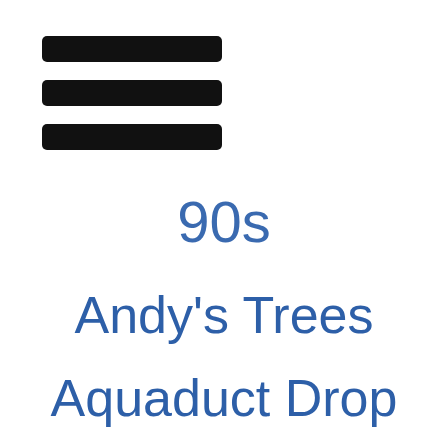[Figure (other): Hamburger menu icon — three horizontal black rounded bars stacked vertically at the top left]
90s
Andy's Trees
Aquaduct Drop